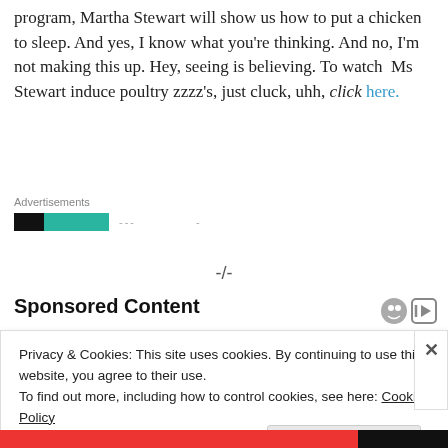program, Martha Stewart will show us how to put a chicken to sleep. And yes, I know what you're thinking. And no, I'm not making this up. Hey, seeing is believing. To watch Ms Stewart induce poultry zzzz's, just cluck, uhh, click here.
[Figure (other): Advertisements section with black and teal/green logo bar and dotted placeholders]
-/-
Sponsored Content
Privacy & Cookies: This site uses cookies. By continuing to use this website, you agree to their use.
To find out more, including how to control cookies, see here: Cookie Policy
Close and accept